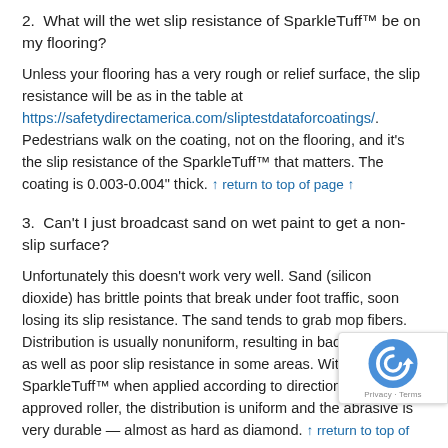2.  What will the wet slip resistance of SparkleTuff™ be on my flooring?
Unless your flooring has a very rough or relief surface, the slip resistance will be as in the table at https://safetydirectamerica.com/sliptestdataforcoatings/. Pedestrians walk on the coating, not on the flooring, and it's the slip resistance of the SparkleTuff™ that matters. The coating is 0.003-0.004" thick. ↑ return to top of page ↑
3.  Can't I just broadcast sand on wet paint to get a non-slip surface?
Unfortunately this doesn't work very well. Sand (silicon dioxide) has brittle points that break under foot traffic, soon losing its slip resistance. The sand tends to grab mop fibers. Distribution is usually nonuniform, resulting in bad appearance as well as poor slip resistance in some areas. With SparkleTuff™ when applied according to directions using the approved roller, the distribution is uniform and the abrasive is very durable — almost as hard as diamond. ↑ return to top of page ↑
4.  How cleanable is SparkleTuff™?